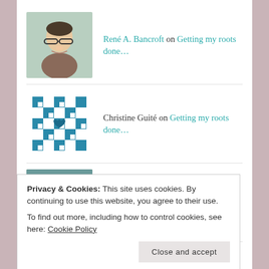René A. Bancroft on Getting my roots done…
Christine Guité on Getting my roots done…
HISSparrowBlog on Making new friends…
Christine Guite on Chaos is not the plan…
- Archives -
Privacy & Cookies: This site uses cookies. By continuing to use this website, you agree to their use. To find out more, including how to control cookies, see here: Cookie Policy
Close and accept